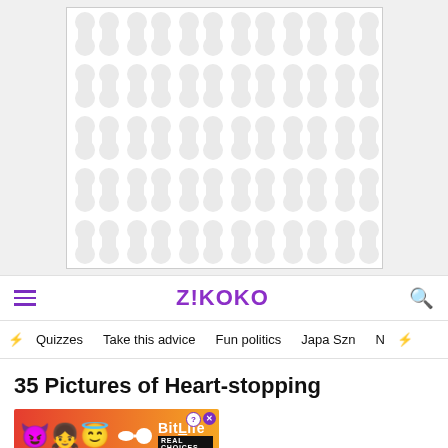[Figure (illustration): A decorative advertisement placeholder with a repeating gray blob/connector pattern on white background, bordered by a thin gray rectangle.]
Z!KOKO
Quizzes
Take this advice
Fun politics
Japa Szn
35 Pictures of Heart-stopping
[Figure (illustration): BitLife mobile app advertisement banner with emoji characters (devil emoji, girl emoji, halo emoji), a sperm emoji, the BitLife logo, a question mark icon, a close button, and the text 'REAL CHOICES' on a red-to-orange gradient background.]